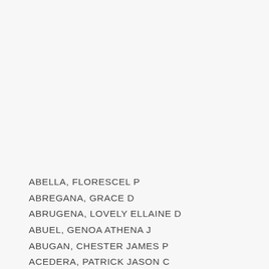ABELLA, FLORESCEL P
ABREGANA, GRACE D
ABRUGENA, LOVELY ELLAINE D
ABUEL, GENOA ATHENA J
ABUGAN, CHESTER JAMES P
ACEDERA, PATRICK JASON C
ACEDILLO, RAIZA MARIE P